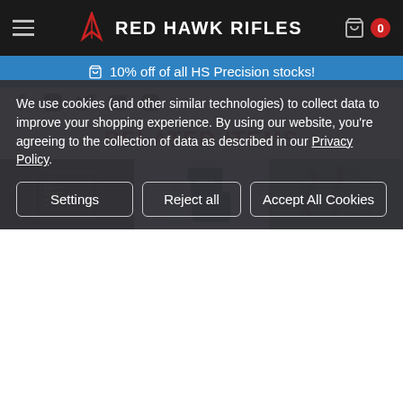RED HAWK RIFLES
10% off of all HS Precision stocks!
RELATED ITEMS
[Figure (photo): Three product images partially visible: a toolkit case with tools, a Zeiss lens cleaning kit, and a camouflage item]
We use cookies (and other similar technologies) to collect data to improve your shopping experience. By using our website, you're agreeing to the collection of data as described in our Privacy Policy.